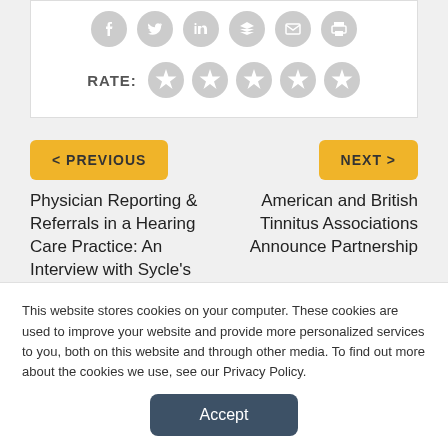[Figure (other): Social media sharing icons: Facebook, Twitter, LinkedIn, Buffer, Email, Print — gray circles]
RATE:
[Figure (other): Five gray star rating icons]
< PREVIOUS
NEXT >
Physician Reporting & Referrals in a Hearing Care Practice: An Interview with Sycle's Ridge Sampson
American and British Tinnitus Associations Announce Partnership
This website stores cookies on your computer. These cookies are used to improve your website and provide more personalized services to you, both on this website and through other media. To find out more about the cookies we use, see our Privacy Policy.
Accept